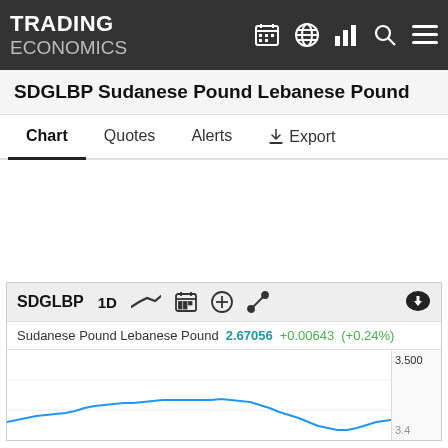TRADING ECONOMICS
SDGLBP Sudanese Pound Lebanese Pound
Chart  Quotes  Alerts  ↓ Export
[Figure (screenshot): Trading Economics chart widget for SDGLBP showing Sudanese Pound Lebanese Pound. Ticker: SDGLBP, period: 1D. Price: 2.67056, change: +0.00643 (+0.24%). Y-axis shows 3.500 and partial 3.400. A blue line chart is partially visible at the bottom.]